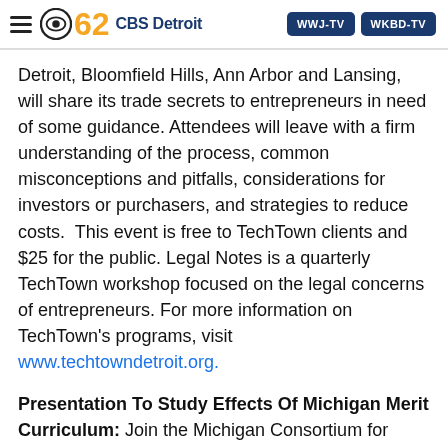CBS 62 CBS Detroit | WWJ-TV | WKBD-TV
Detroit, Bloomfield Hills, Ann Arbor and Lansing, will share its trade secrets to entrepreneurs in need of some guidance. Attendees will leave with a firm understanding of the process, common misconceptions and pitfalls, considerations for investors or purchasers, and strategies to reduce costs.  This event is free to TechTown clients and $25 for the public. Legal Notes is a quarterly TechTown workshop focused on the legal concerns of entrepreneurs. For more information on TechTown's programs, visit www.techtowndetroit.org.
Presentation To Study Effects Of Michigan Merit Curriculum:
Join the Michigan Consortium for Educational Research as they present early impact analyses for the first graduating cohort to experience the Michigan Merit Curriculum. This first-look at results will address what has happened to student achievement, graduation and dropout rates, and college enrollment and persistence as a result of